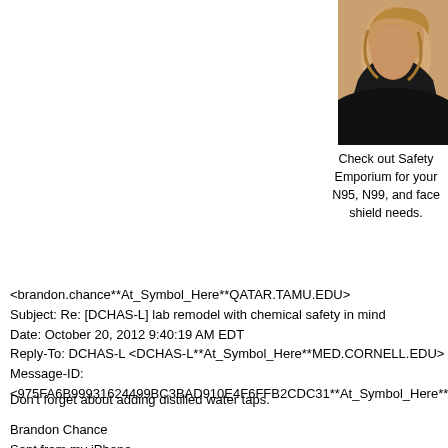[Figure (photo): Partial photo of a person with blonde hair against a dark background, cropped in top-right corner]
Check out Safety Emporium for your N95, N99, and face shield needs.
<brandon.chance**At_Symbol_Here**QATAR.TAMU.EDU>
Subject: Re: [DCHAS-L] lab remodel with chemical safety in mind
Date: October 20, 2012 9:40:19 AM EDT
Reply-To: DCHAS-L <DCHAS-L**At_Symbol_Here**MED.CORNELL.EDU>
Message-ID:
<975FA6B99931624499BC3BAD910E4F6FFB2CDC31**At_Symbol_Here**excha
Don't forget about adding distilled water taps.
Brandon Chance
Sent from my iPhone
On Oct 20, 2012, at 1:14 PM, "Laura Damon" > wrote:
On a similar note, when we remodeled our chemistry labs the project engineer decided we didn't need hot water in the labs so didn't provide any:( We had to install instant hot water heaters under each bench. Ditto not only on communication needs but check on what they are actually doing.
Laura Damon
Flathead Valley Community College